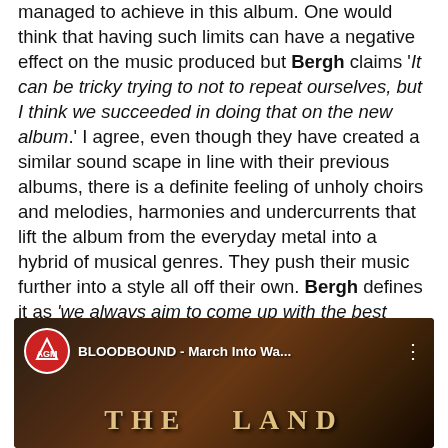managed to achieve in this album. One would think that having such limits can have a negative effect on the music produced but Bergh claims 'It can be tricky trying to not to repeat ourselves, but I think we succeeded in doing that on the new album.' I agree, even though they have created a similar sound scape in line with their previous albums, there is a definite feeling of unholy choirs and melodies, harmonies and undercurrents that lift the album from the everyday metal into a hybrid of musical genres. They push their music further into a style all off their own. Bergh defines it as 'we always aim to come up with the best melodies we can. We take influences from all kinds of music genres of music because a good melody is a good melody'.
[Figure (screenshot): YouTube video thumbnail for BLOODBOUND - March Into Wa... showing AGM logo, video title, three-dot menu, and 'THE LAND' text overlay on a dark cinematic background]